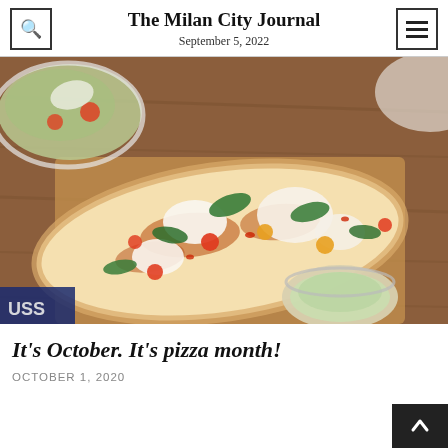The Milan City Journal
September 5, 2022
[Figure (photo): A flatbread pizza topped with fresh mozzarella, cherry tomatoes, basil, and other toppings on a wooden cutting board, with a small bowl of green sauce and a salad bowl in the background.]
It's October. It's pizza month!
OCTOBER 1, 2020